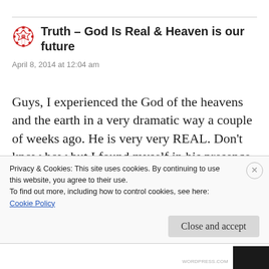Truth - God Is Real & Heaven is our future
April 8, 2014 at 12:04 am
Guys, I experienced the God of the heavens and the earth in a very dramatic way a couple of weeks ago. He is very very REAL. Don't know how but I found myself in his presence while praying. I thought I believed in God before that
Privacy & Cookies: This site uses cookies. By continuing to use this website, you agree to their use.
To find out more, including how to control cookies, see here:
Cookie Policy
Close and accept